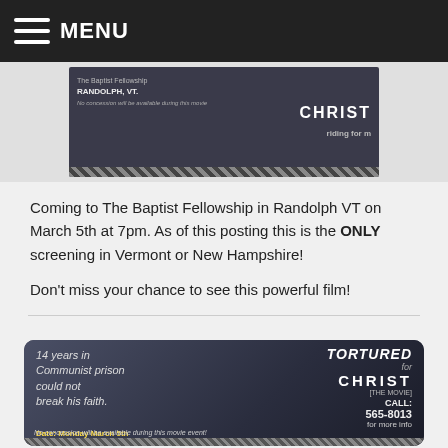MENU
[Figure (photo): Movie promotional banner for 'Tortured for Christ' screening at The Baptist Fellowship in Randolph, VT with diagonal stripe bar at bottom]
Coming to The Baptist Fellowship in Randolph VT on March 5th at 7pm. As of this posting this is the ONLY screening in Vermont or New Hampshire!
Don't miss your chance to see this powerful film!
[Figure (photo): Movie promotional poster for 'Tortured for Christ' showing a man from behind with text: '14 years in Communist prison could not break his faith.' Date: Monday March 5th, Time: 7pm, Place: The Baptist Fellowship in RANDOLPH, VT. CALL: 565-8013 for more info. No concession will be available during this movie event!]